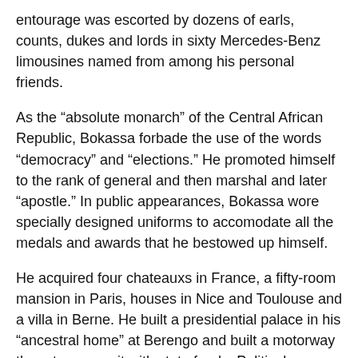entourage was escorted by dozens of earls, counts, dukes and lords in sixty Mercedes-Benz limousines named from among his personal friends.
As the “absolute monarch” of the Central African Republic, Bokassa forbade the use of the words “democracy” and “elections.” He promoted himself to the rank of general and then marshal and later “apostle.” In public appearances, Bokassa wore specially designed uniforms to accomodate all the medals and awards that he bestowed up himself.
He acquired four chateauxs in France, a fifty-room mansion in Paris, houses in Nice and Toulouse and a villa in Berne. He built a presidential palace in his “ancestral home” at Berengo and built a motorway there to access it with state funds. Political enemies were fed to lions and crocodiles at the Villa Kolongo.
Over the course of his 14 year reign, Bokassa announced a “Move to the East” and proclaimed “scientific socialism” to be the goal of his government, but when that didn’t work out he converted to Islam and renamed himself “Salah Addin Ahmed